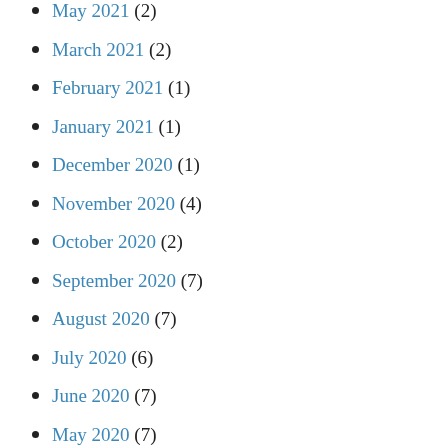May 2021 (2)
March 2021 (2)
February 2021 (1)
January 2021 (1)
December 2020 (1)
November 2020 (4)
October 2020 (2)
September 2020 (7)
August 2020 (7)
July 2020 (6)
June 2020 (7)
May 2020 (7)
April 2020 (9)
March 2020 (14)
February 2020 (12)
January 2020 (10)
December 2019 (2)